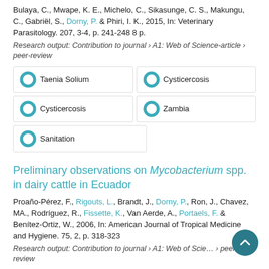Bulaya, C., Mwape, K. E., Michelo, C., Sikasunge, C. S., Makungu, C., Gabriël, S., Dorny, P. & Phiri, I. K., 2015, In: Veterinary Parasitology. 207, 3-4, p. 241-248 8 p.
Research output: Contribution to journal › A1: Web of Science-article › peer-review
Taenia Solium
Cysticercosis
Cysticercosis
Zambia
Sanitation
Preliminary observations on Mycobacterium spp. in dairy cattle in Ecuador
Proaño-Pérez, F., Rigouts, L., Brandt, J., Dorny, P., Ron, J., Chavez, MA., Rodríguez, R., Fissette, K., Van Aerde, A., Portaels, F. & Benítez-Ortiz, W., 2006, In: American Journal of Tropical Medicine and Hygiene. 75, 2, p. 318-323
Research output: Contribution to journal › A1: Web of Science-article › peer-review